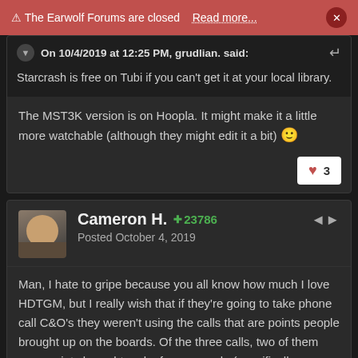⚠ The Earwolf Forums are closed   Read more...   ×
On 10/4/2019 at 12:25 PM, grudlian. said:
Starcrash is free on Tubi if you can't get it at your local library.
The MST3K version is on Hoopla. It might make it a little more watchable (although they might edit it a bit) 🙂
❤ 3
Cameron H. ✪ 23786
Posted October 4, 2019
Man, I hate to gripe because you all know how much I love HDTGM, but I really wish that if they're going to take phone call C&O's they weren't using the calls that are points people brought up on the boards. Of the three calls, two of them were points brought up by forum people (specifically @Vegas820 and @RyanSz). And, of course, the third call was actually brought up on the show, so I